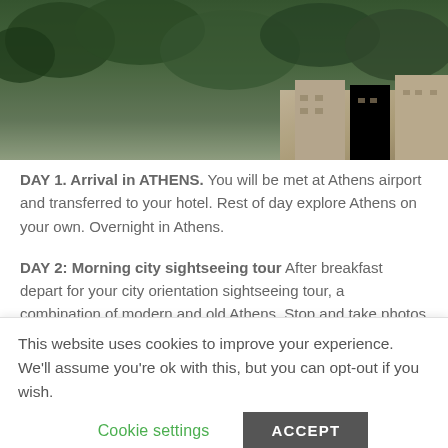[Figure (photo): Aerial/landscape photo showing trees and buildings in Athens]
DAY 1. Arrival in ATHENS. You will be met at Athens airport and transferred to your hotel. Rest of day explore Athens on your own. Overnight in Athens.
DAY 2: Morning city sightseeing tour After breakfast depart for your city orientation sightseeing tour, a combination of modern and old Athens. Stop and take photos at the Panathenaiko Stadium (Built in the 2nd century AD, it is the only stadium in the world built entirely of marble, and became the host to the opening
This website uses cookies to improve your experience. We'll assume you're ok with this, but you can opt-out if you wish.
Cookie settings
ACCEPT